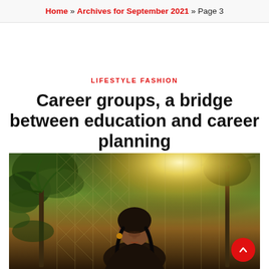Home » Archives for September 2021 » Page 3
LIFESTYLE FASHION
Career groups, a bridge between education and career planning
[Figure (photo): Outdoor photo of a young woman with braided hair looking down, with palm trees, chain-link fence, and bright sunlight in the background]